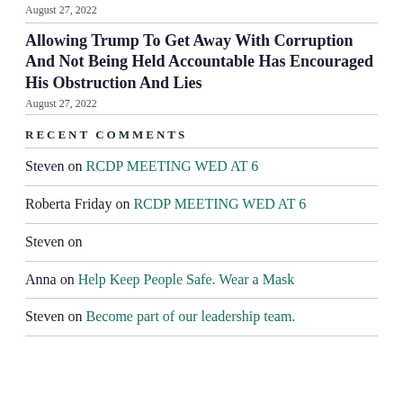August 27, 2022
Allowing Trump To Get Away With Corruption And Not Being Held Accountable Has Encouraged His Obstruction And Lies
August 27, 2022
RECENT COMMENTS
Steven on RCDP MEETING WED AT 6
Roberta Friday on RCDP MEETING WED AT 6
Steven on
Anna on Help Keep People Safe. Wear a Mask
Steven on Become part of our leadership team.